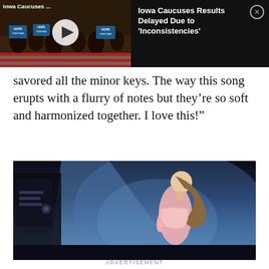[Figure (screenshot): News banner with video thumbnail showing Iowa Caucuses crowd with HOPE OVER FEAR signs and play button, alongside news headline panel reading 'Iowa Caucuses Results Delayed Due to Inconsistencies' with close button]
savored all the minor keys. The way this song erupts with a flurry of notes but they’re so soft and harmonized together. I love this!"
[Figure (photo): Concert photo of a woman with long hair in a pink top seen in profile against a blue-lit stage background]
ADVERTISEMENT